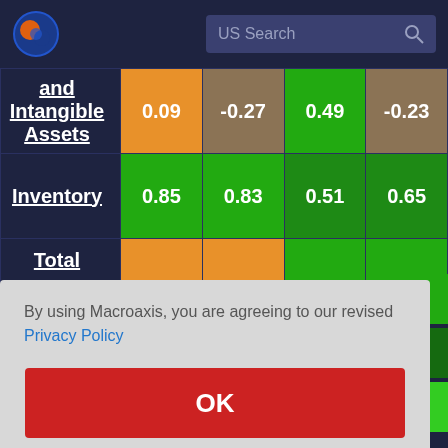[Figure (screenshot): Macroaxis website header with logo and US Search bar]
|  | Col1 | Col2 | Col3 | Col4 |
| --- | --- | --- | --- | --- |
| and Intangible Assets | 0.09 | -0.27 | 0.49 | -0.23 |
| Inventory | 0.85 | 0.83 | 0.51 | 0.65 |
| Total |  |  |  | 0.48 |
By using Macroaxis, you are agreeing to our revised Privacy Policy
OK